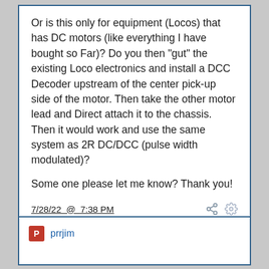Or is this only for equipment (Locos) that has DC motors (like everything I have bought so Far)?  Do you then "gut" the existing Loco electronics and install a DCC Decoder upstream of the center pick-up side of the motor.  Then take the other motor lead and Direct attach it to the chassis.  Then it would work and use the same system as 2R DC/DCC (pulse width modulated)?

Some one please let me know?  Thank you!
7/28/22 @ 7:38 PM
0
prrjim